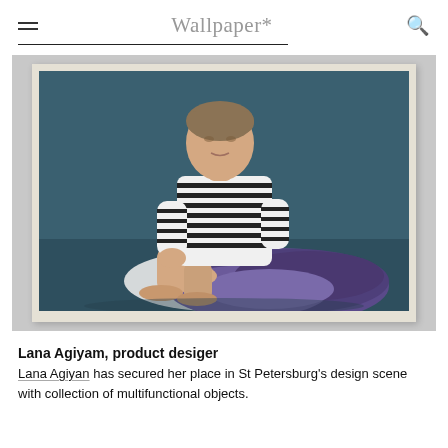Wallpaper*
[Figure (photo): Woman sitting on the floor wearing a striped top and a voluminous purple skirt, posed against a dark teal background. Editorial fashion portrait.]
Lana Agiyam, product desiger
Lana Agiyan has secured her place in St Petersburg's design scene with collection of multifunctional objects.